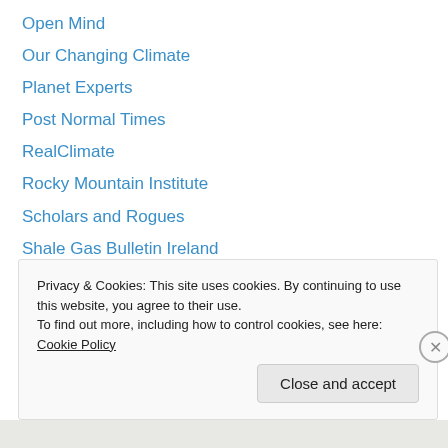Open Mind
Our Changing Climate
Planet Experts
Post Normal Times
RealClimate
Rocky Mountain Institute
Scholars and Rogues
Shale Gas Bulletin Ireland
Skeptical Science
Solar Power Now
Terra Alert
The Cost of Energy
The Way Things Break
Privacy & Cookies: This site uses cookies. By continuing to use this website, you agree to their use.
To find out more, including how to control cookies, see here: Cookie Policy
Close and accept